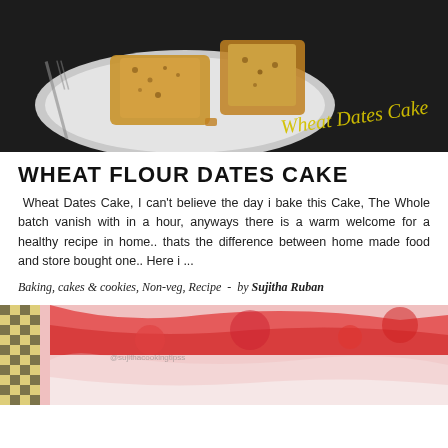[Figure (photo): A close-up photo of wheat dates cake slices on a white plate against a dark background, with cursive text 'Wheat Dates Cake' overlaid in yellow/gold.]
WHEAT FLOUR DATES CAKE
Wheat Dates Cake, I can't believe the day i bake this Cake, The Whole batch vanish with in a hour, anyways there is a warm welcome for a healthy recipe in home.. thats the difference between home made food and store bought one.. Here i ...
Baking, cakes & cookies, Non-veg, Recipe  -  by Sujitha Ruban
[Figure (photo): A close-up photo of a red strawberry or fruit dessert/cake with syrup on a white plate, with a watermark visible.]